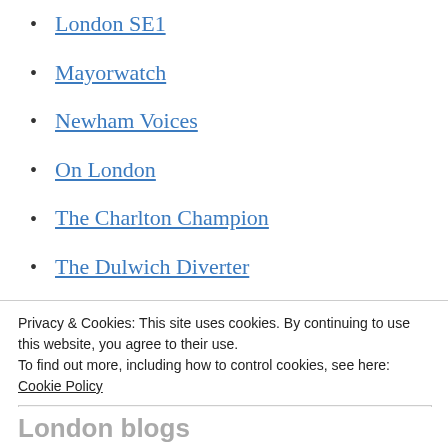London SE1
Mayorwatch
Newham Voices
On London
The Charlton Champion
The Dulwich Diverter
The Lewisham Ledger
The Peckham Peculiar
Tottenham Community Press
[partially visible link]
Privacy & Cookies: This site uses cookies. By continuing to use this website, you agree to their use.
To find out more, including how to control cookies, see here: Cookie Policy
Close and accept
London blogs